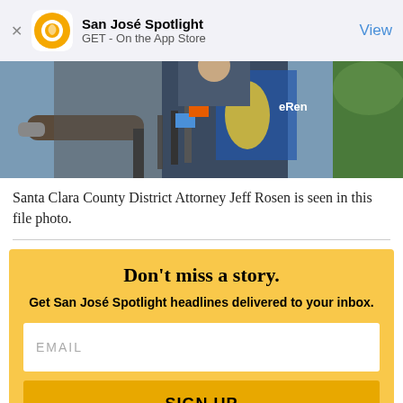San José Spotlight — GET - On the App Store — View
[Figure (photo): Photo of Santa Clara County District Attorney Jeff Rosen at a press conference with microphones]
Santa Clara County District Attorney Jeff Rosen is seen in this file photo.
Don't miss a story. Get San José Spotlight headlines delivered to your inbox.
EMAIL
SIGN UP